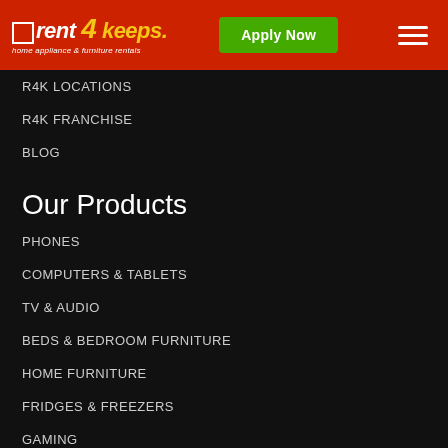rent 4 keeps — home appliance & furniture rentals | Apply Now
R4K LOCATIONS
R4K FRANCHISE
BLOG
Our Products
PHONES
COMPUTERS & TABLETS
TV & AUDIO
BEDS & BEDROOM FURNITURE
HOME FURNITURE
FRIDGES & FREEZERS
GAMING